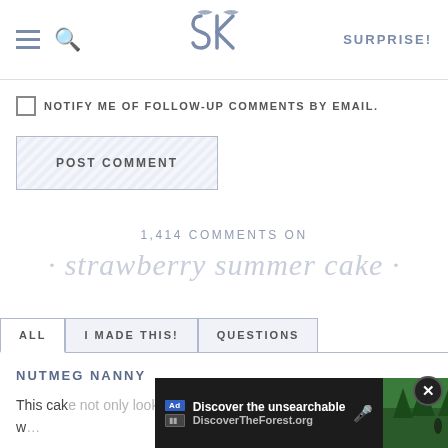SK SURPRISE!
NOTIFY ME OF FOLLOW-UP COMMENTS BY EMAIL.
POST COMMENT
1,414 COMMENTS ON
· strawberry summer cake ·
ALL
I MADE THIS!
QUESTIONS
NUTMEG NANNY
This cake not only looks delicious but it's also beautiful a perfect w
[Figure (screenshot): Ad overlay: Discover the unsearchable / DiscoverTheForest.org with forest background image and close button]